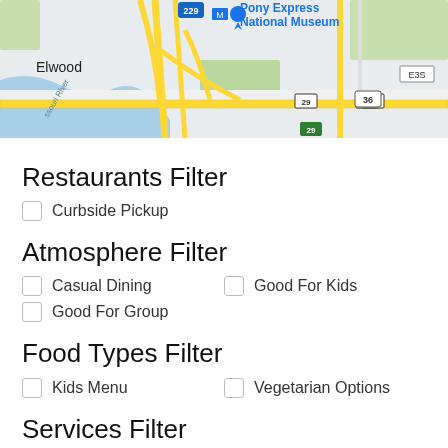[Figure (map): Google Maps screenshot showing Elwood area with Pony Express National Museum, roads including routes 229, 36, 29, and Missouri River]
Restaurants Filter
Curbside Pickup
Atmosphere Filter
Casual Dining
Good For Kids
Good For Group
Food Types Filter
Kids Menu
Vegetarian Options
Services Filter
Free Parking
Has TV